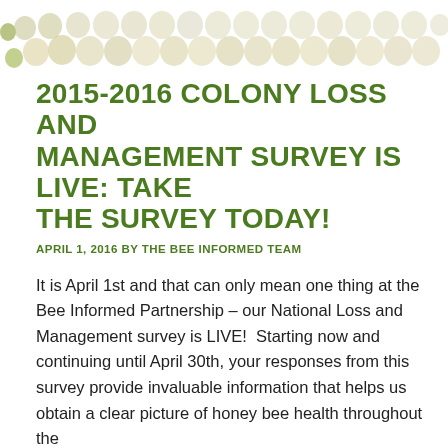[Figure (illustration): Decorative header with honeycomb-like oval/circular shapes in cream/beige tones arranged in a horizontal row pattern at the top of the page]
2015-2016 COLONY LOSS AND MANAGEMENT SURVEY IS LIVE: TAKE THE SURVEY TODAY!
APRIL 1, 2016 BY THE BEE INFORMED TEAM
It is April 1st and that can only mean one thing at the Bee Informed Partnership – our National Loss and Management survey is LIVE!  Starting now and continuing until April 30th, your responses from this survey provide invaluable information that helps us obtain a clear picture of honey bee health throughout the